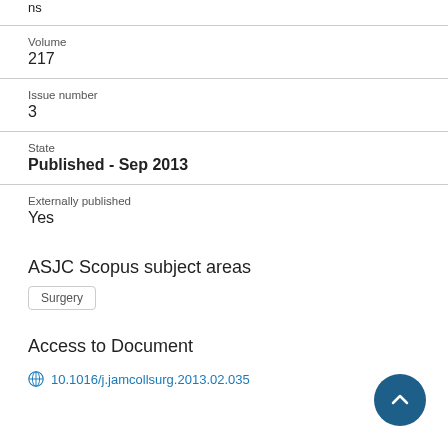ns
Volume
217
Issue number
3
State
Published - Sep 2013
Externally published
Yes
ASJC Scopus subject areas
Surgery
Access to Document
10.1016/j.jamcollsurg.2013.02.035